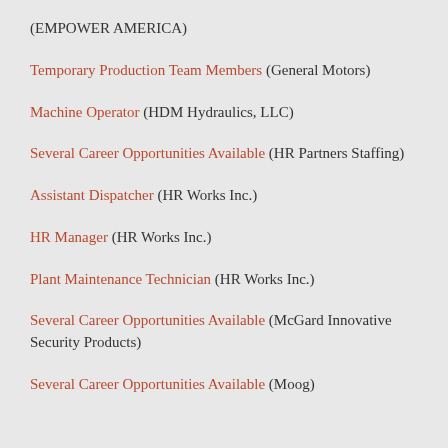(EMPOWER AMERICA)
Temporary Production Team Members (General Motors)
Machine Operator (HDM Hydraulics, LLC)
Several Career Opportunities Available (HR Partners Staffing)
Assistant Dispatcher (HR Works Inc.)
HR Manager (HR Works Inc.)
Plant Maintenance Technician (HR Works Inc.)
Several Career Opportunities Available (McGard Innovative Security Products)
Several Career Opportunities Available (Moog)